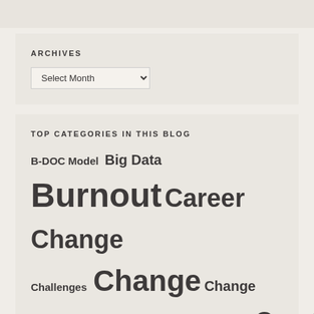ARCHIVES
Select Month
TOP CATEGORIES IN THIS BLOG
B-DOC Model  Big Data  Burnout  Career Change  Challenges  Change  Change resistance  Communication  Creativity